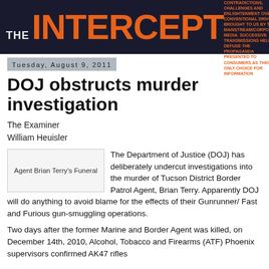[Figure (logo): The Intercept masthead logo on dark navy background. 'THE' in small white bold text, 'INTERCEPT' in large bold orange text, with tagline in small orange uppercase text on the right.]
Tuesday, August 9, 2011
DOJ obstructs murder investigation
The Examiner
William Heuisler
[Figure (photo): Agent Brian Terry's Funeral (placeholder image box)]
The Department of Justice (DOJ) has deliberately undercut investigations into the murder of Tucson District Border Patrol Agent, Brian Terry. Apparently DOJ will do anything to avoid blame for the effects of their Gunrunner/ Fast and Furious gun-smuggling operations.
Two days after the former Marine and Border Agent was killed, on December 14th, 2010, Alcohol, Tobacco and Firearms (ATF) Phoenix supervisors confirmed AK47 rifles